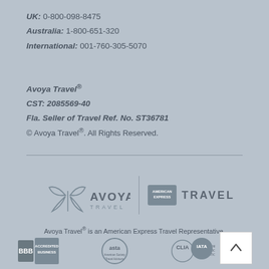UK: 0-800-098-8475
Australia: 1-800-651-320
International: 001-760-305-5070
Avoya Travel®
CST: 2085569-40
Fla. Seller of Travel Ref. No. ST36781
© Avoya Travel®. All Rights Reserved.
[Figure (logo): Avoya Travel® logo with leaf/butterfly motif and American Express Travel logo side by side, separated by a vertical bar]
Avoya Travel® is an American Express Travel Representative.
[Figure (logo): Row of accreditation badge logos: BBB Accredited Business, ASTA American Society of Travel Advisors, CLIA Cruise Lines International Association Inc., IATA]